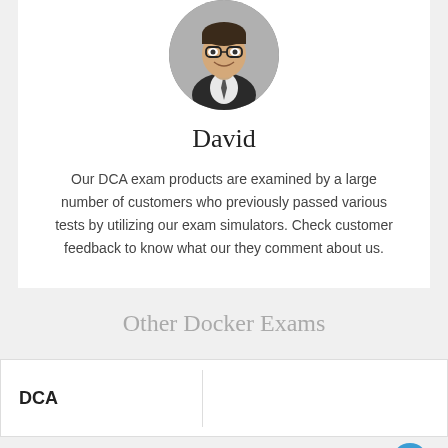[Figure (photo): Circular profile photo of a smiling man with glasses wearing a suit]
David
Our DCA exam products are examined by a large number of customers who previously passed various tests by utilizing our exam simulators. Check customer feedback to know what our they comment about us.
Other Docker Exams
| DCA |  |
| --- | --- |
| DCA |  |